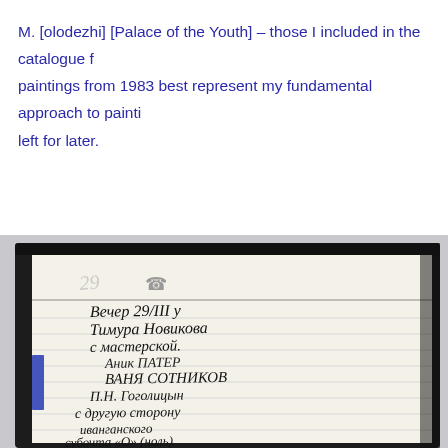M. [olodezhi] [Palace of the Youth] – those I included in the catalogue f... paintings from 1983 best represent my fundamental approach to painti... left for later.
[Figure (photo): An open notebook with handwritten Cyrillic text on ruled pages, showing names and notes including 'Вечер 29/III у Тимура Новикова с мастерской. Аник ПАТЕР, ВАНЯ СОТНИКОВ, П.Н. Гоголицын, с другую сторону иванганского, субочта «О» (ноль)'. The notebook has a black cover and is photographed at an angle against a light gray background.]